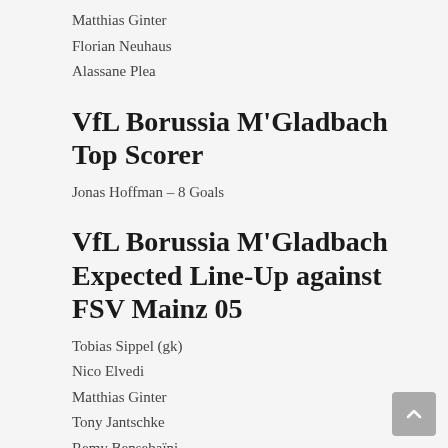Matthias Ginter
Florian Neuhaus
Alassane Plea
VfL Borussia M'Gladbach Top Scorer
Jonas Hoffman – 8 Goals
VfL Borussia M'Gladbach Expected Line-Up against FSV Mainz 05
Tobias Sippel (gk)
Nico Elvedi
Matthias Ginter
Tony Jantschke
Remy Bensebaïni
Joe Scally
Florian Neuhaus
Kouadio Koné